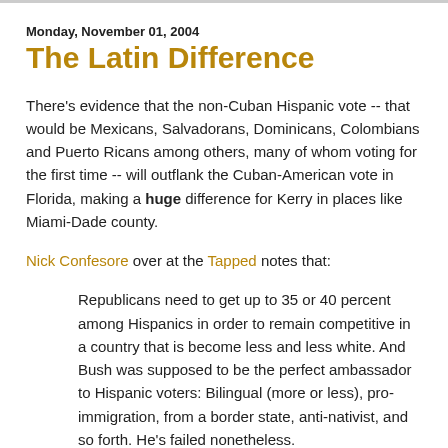Monday, November 01, 2004
The Latin Difference
There's evidence that the non-Cuban Hispanic vote -- that would be Mexicans, Salvadorans, Dominicans, Colombians and Puerto Ricans among others, many of whom voting for the first time -- will outflank the Cuban-American vote in Florida, making a huge difference for Kerry in places like Miami-Dade county.
Nick Confesore over at the Tapped notes that:
Republicans need to get up to 35 or 40 percent among Hispanics in order to remain competitive in a country that is become less and less white. And Bush was supposed to be the perfect ambassador to Hispanic voters: Bilingual (more or less), pro-immigration, from a border state, anti-nativist, and so forth. He's failed nonetheless.